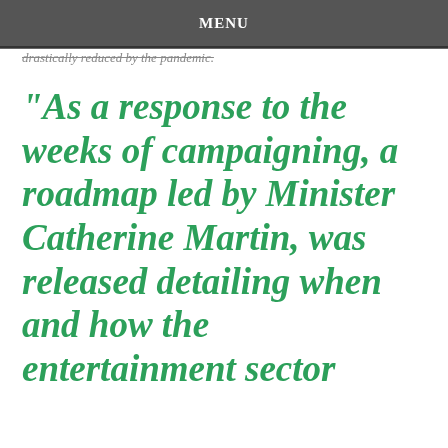MENU
drastically reduced by the pandemic.
“As a response to the weeks of campaigning, a roadmap led by Minister Catherine Martin, was released detailing when and how the entertainment sector